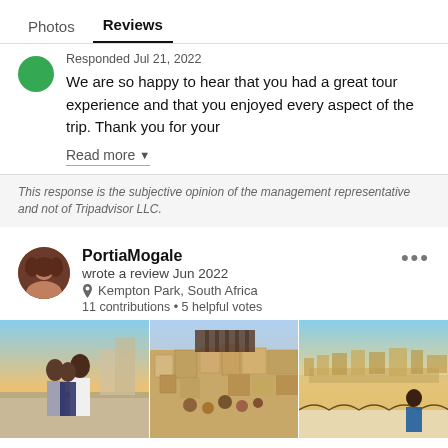Photos   Reviews
Responded Jul 21, 2022
We are so happy to hear that you had a great tour experience and that you enjoyed every aspect of the trip. Thank you for your
Read more ▼
This response is the subjective opinion of the management representative and not of Tripadvisor LLC.
PortiaMogale
wrote a review Jun 2022
Kempton Park, South Africa
11 contributions • 5 helpful votes
[Figure (photo): Three travel photos: couple standing on a rooftop terrace, aerial view of a medina/old city with tanneries, woman sitting on a rooftop balcony overlooking a desert city at golden hour]